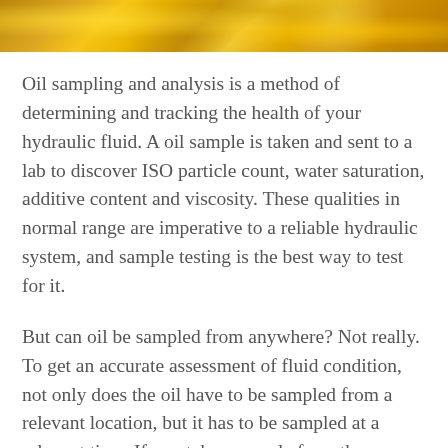[Figure (photo): Close-up photograph of golden/amber hydraulic oil with bubbles and droplets visible]
Oil sampling and analysis is a method of determining and tracking the health of your hydraulic fluid. A oil sample is taken and sent to a lab to discover ISO particle count, water saturation, additive content and viscosity. These qualities in normal range are imperative to a reliable hydraulic system, and sample testing is the best way to test for it.
But can oil be sampled from anywhere? Not really. To get an accurate assessment of fluid condition, not only does the oil have to be sampled from a relevant location, but it has to be sampled at a relevant time. If you take a sample from the reservoir first thing in the morning while the machine is cold from an night of disuse, you are not getting